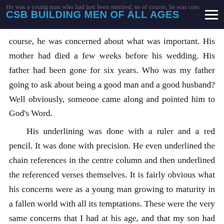CSB BUILDING MEN OF ALL AGES
He was a young man who had just been married, so of course, he was concerned about what was important. His mother had died a few weeks before his wedding. His father had been gone for six years. Who was my father going to ask about being a good man and a good husband? Well obviously, someone came along and pointed him to God's Word.
His underlining was done with a ruler and a red pencil. It was done with precision. He even underlined the chain references in the centre column and then underlined the referenced verses themselves. It is fairly obvious what his concerns were as a young man growing to maturity in a fallen world with all its temptations. These were the very same concerns that I had at his age, and that my son had as he prepared for married life. We were three generations, but I know that we weren't so different.